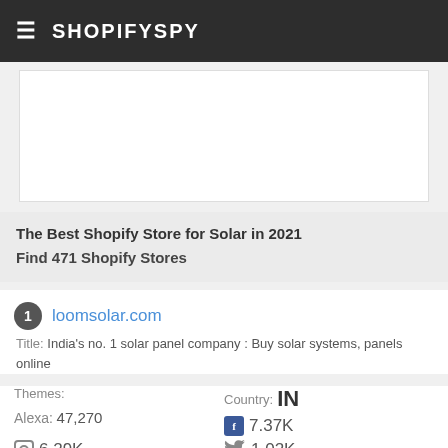≡ SHOPIFYSPY
[Figure (screenshot): White content area / product image placeholder]
The Best Shopify Store for Solar in 2021
Find 471 Shopify Stores
1 loomsolar.com
Title: India's no. 1 solar panel company : Buy solar systems, panels online
Themes:
Alexa: 47,270
Country: IN
7.37K
6.29K
1.02K